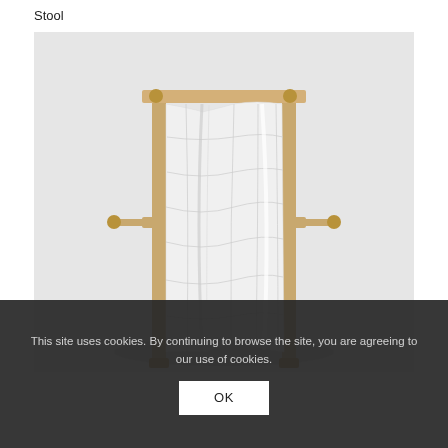Stool
[Figure (photo): A wooden frame structure resembling a loom or easel, with a white wavy/curved fabric or material stretched across its interior. The frame is made of light oak-colored wood with horizontal and vertical beams, and a cross-bar in the middle. The object sits on a light grey background.]
This site uses cookies. By continuing to browse the site, you are agreeing to our use of cookies.
OK